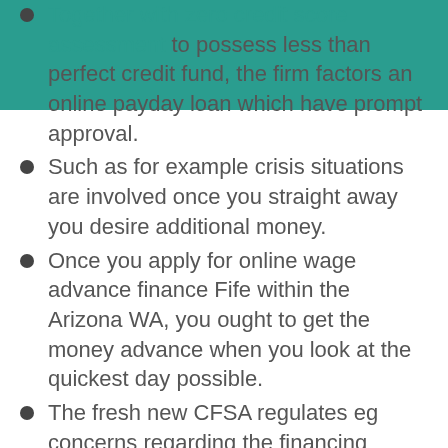Together with zero credit score assessment to possess less than perfect credit fund, the firm factors an online payday loan which have prompt approval.
Such as for example crisis situations are involved once you straight away you desire additional money.
Once you apply for online wage advance finance Fife within the Arizona WA, you ought to get the money advance when you look at the quickest day possible.
The fresh new CFSA regulates eg concerns regarding the financing world, most lenders are people in CFSA.
This type of teams help the participants to